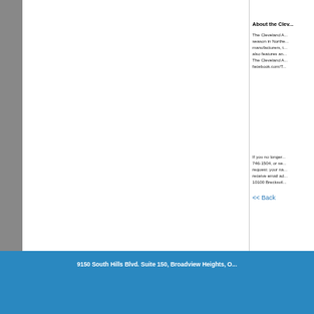About the Clev...
The Cleveland A... season in Northe... manufacturers, t... also features an... The Cleveland A... facebook.com/T...
If you no longer... 746-1504, or se... request: your na... receive email ad... 10100 Brecksvil...
<< Back
9150 South Hills Blvd. Suite 150, Broadview Heights, O...